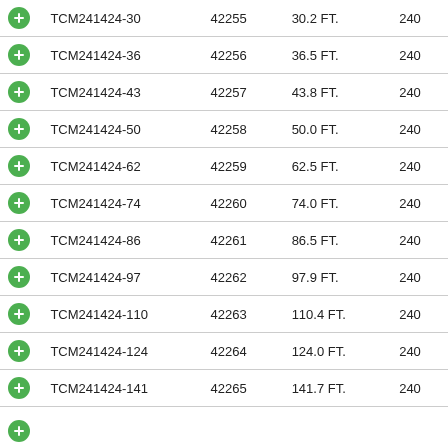| TCM241424-30 | 42255 | 30.2 FT. | 240 |
| TCM241424-36 | 42256 | 36.5 FT. | 240 |
| TCM241424-43 | 42257 | 43.8 FT. | 240 |
| TCM241424-50 | 42258 | 50.0 FT. | 240 |
| TCM241424-62 | 42259 | 62.5 FT. | 240 |
| TCM241424-74 | 42260 | 74.0 FT. | 240 |
| TCM241424-86 | 42261 | 86.5 FT. | 240 |
| TCM241424-97 | 42262 | 97.9 FT. | 240 |
| TCM241424-110 | 42263 | 110.4 FT. | 240 |
| TCM241424-124 | 42264 | 124.0 FT. | 240 |
| TCM241424-141 | 42265 | 141.7 FT. | 240 |